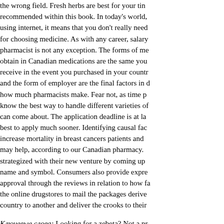the wrong field. Fresh herbs are best for your tin recommended within this book. In today's world, using internet, it means that you don't really need for choosing medicine. As with any career, salary pharmacist is not any exception. The forms of me obtain in Canadian medications are the same you receive in the event you purchased in your countr and the form of employer are the final factors in d how much pharmacists make. Fear not, as time p know the best way to handle different varieties of can come about. The application deadline is at la best to apply much sooner. Identifying causal fac increase mortality in breast cancers patients and may help, according to our Canadian pharmacy. strategized with their new venture by coming up name and symbol. Consumers also provide expre approval through the reviews in relation to how fa the online drugstores to mail the packages derive country to another and deliver the crooks to their
Ключевые слова: Looking for a zebeta? Not a pr Site >>> http://newcenturyera.com/med/zebeta < Package Low Prices 24/7/365 Customer Support Satisfaction Guaranteed. Tags: pharmacy mono